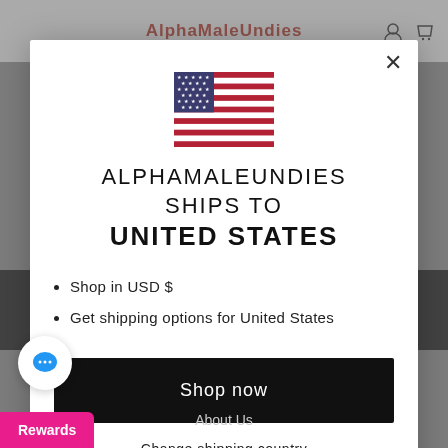[Figure (screenshot): AlphaMaleUndies website header with red brand name and navigation icons]
[Figure (illustration): US flag SVG illustration centered in modal]
ALPHAMALEUNDIES SHIPS TO UNITED STATES
Shop in USD $
Get shipping options for United States
Shop now
Change shipping country
About Us
Rewards